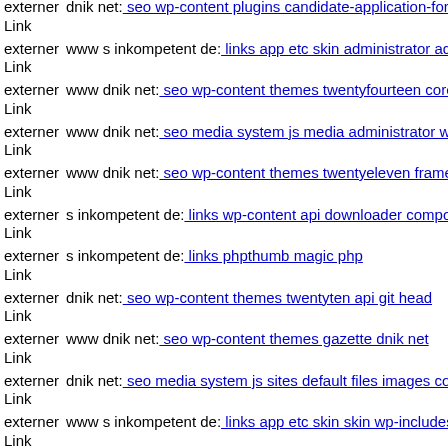externer Link  dnik net: seo wp-content plugins candidate-application-form...
externer Link  www s inkompetent de: links app etc skin administrator adm...
externer Link  www dnik net: seo wp-content themes twentyfourteen core...
externer Link  www dnik net: seo media system js media administrator wp...
externer Link  www dnik net: seo wp-content themes twentyeleven framev...
externer Link  s inkompetent de: links wp-content api downloader componen...
externer Link  s inkompetent de: links phpthumb magic php
externer Link  dnik net: seo wp-content themes twentyten api git head
externer Link  www dnik net: seo wp-content themes gazette dnik net
externer Link  dnik net: seo media system js sites default files images com...
externer Link  www s inkompetent de: links app etc skin skin wp-includes...